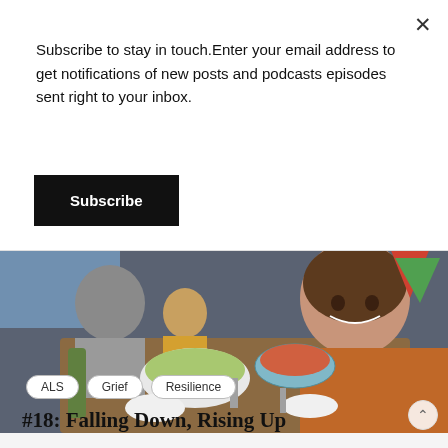Subscribe to stay in touch.Enter your email address to get notifications of new posts and podcasts episodes sent right to your inbox.
Subscribe
[Figure (photo): Family selfie at a dinner table with holiday decorations. A smiling woman in an orange cardigan takes a selfie, with a man in a grey sweater and a young girl in yellow visible in the background, with food dishes on the table.]
ALS
Grief
Resilience
#18: Falling Down, Rising Up